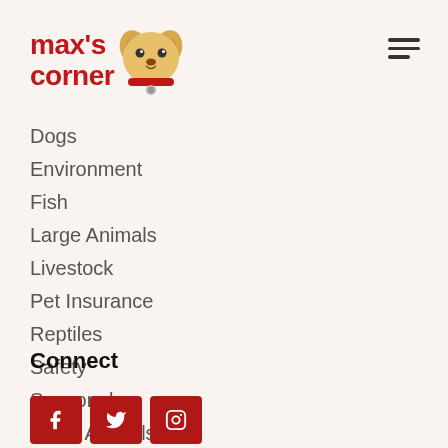[Figure (logo): Max's Corner logo with red bold text 'max's corner' and illustrated dog face icon]
Dogs
Environment
Fish
Large Animals
Livestock
Pet Insurance
Reptiles
Safety
Seasonal
Small Animals
Connect
[Figure (infographic): Three red social media icon buttons: Facebook (f), Twitter (bird), Instagram (camera)]